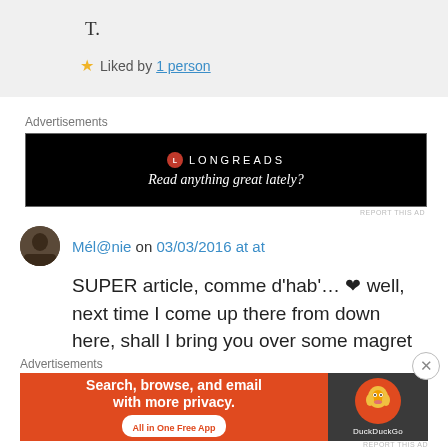T.
Liked by 1 person
Advertisements
[Figure (other): Longreads advertisement banner: black background with Longreads logo and text 'Read anything great lately?']
Mél@nie on 03/03/2016 at at
SUPER article, comme d'hab'… ❤ well, next time I come up there from down here, shall I bring you over some magret fumé de canard &
Advertisements
[Figure (other): DuckDuckGo advertisement: 'Search, browse, and email with more privacy. All in One Free App' on orange background with DuckDuckGo logo on dark background]